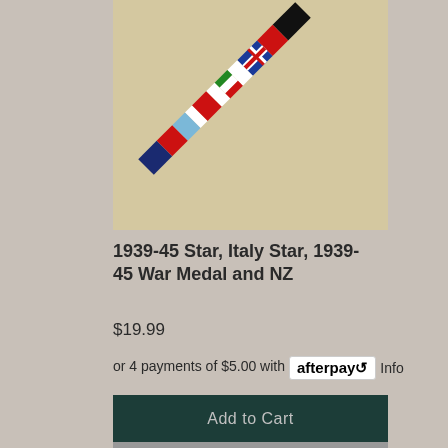[Figure (photo): A diagonal ribbon bar showing multiple medal ribbons: black, red, blue/white/red Union Jack pattern, white, green, white, red, white, light blue, red, navy blue colored stripes on a beige/tan background.]
1939-45 Star, Italy Star, 1939-45 War Medal and NZ
$19.99
or 4 payments of $5.00 with afterpay Info
Add to Cart